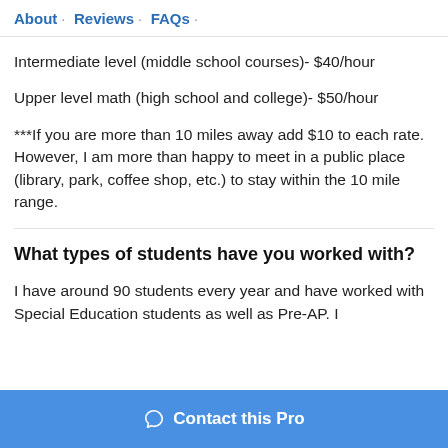About · Reviews · FAQs ·
Intermediate level (middle school courses)- $40/hour
Upper level math (high school and college)- $50/hour
***If you are more than 10 miles away add $10 to each rate. However, I am more than happy to meet in a public place (library, park, coffee shop, etc.) to stay within the 10 mile range.
What types of students have you worked with?
I have around 90 students every year and have worked with Special Education students as well as Pre-AP. I
Contact this Pro